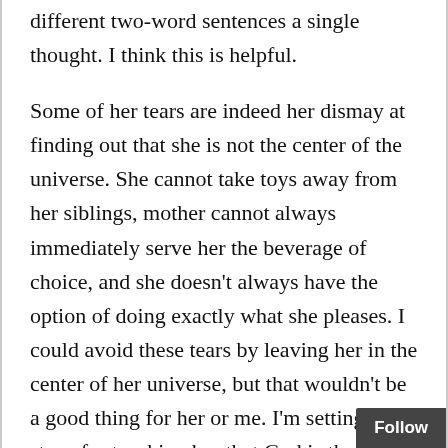different two-word sentences a single thought. I think this is helpful.
Some of her tears are indeed her dismay at finding out that she is not the center of the universe. She cannot take toys away from her siblings, mother cannot always immediately serve her the beverage of choice, and she doesn't always have the option of doing exactly what she pleases. I could avoid these tears by leaving her in the center of her universe, but that wouldn't be a good thing for her or me. I'm setting the stage for teaching her that God is the center of her universe. That means I have to remain constant when I have determined a course that she disagrees with. It's easy to give